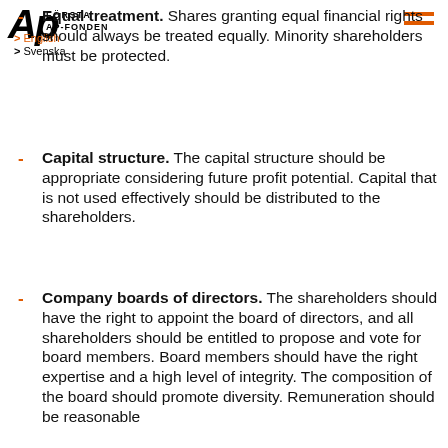AP FORSTA AP-FONDEN | English | Svenska
Equal treatment. Shares granting equal financial rights should always be treated equally. Minority shareholders must be protected.
Capital structure. The capital structure should be appropriate considering future profit potential. Capital that is not used effectively should be distributed to the shareholders.
Company boards of directors. The shareholders should have the right to appoint the board of directors, and all shareholders should be entitled to propose and vote for board members. Board members should have the right expertise and a high level of integrity. The composition of the board should promote diversity. Remuneration should be reasonable